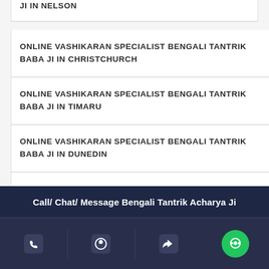ONLINE VASHIKARAN SPECIALIST BENGALI TANTRIK BABA JI IN NELSON
ONLINE VASHIKARAN SPECIALIST BENGALI TANTRIK BABA JI IN CHRISTCHURCH
ONLINE VASHIKARAN SPECIALIST BENGALI TANTRIK BABA JI IN TIMARU
ONLINE VASHIKARAN SPECIALIST BENGALI TANTRIK BABA JI IN DUNEDIN
ONLINE VASHIKARAN SPECIALIST BENGALI TANTRIK BABA JI IN INVERCARGILL
Call/ Chat/ Message Bengali Tantrik Acharya Ji